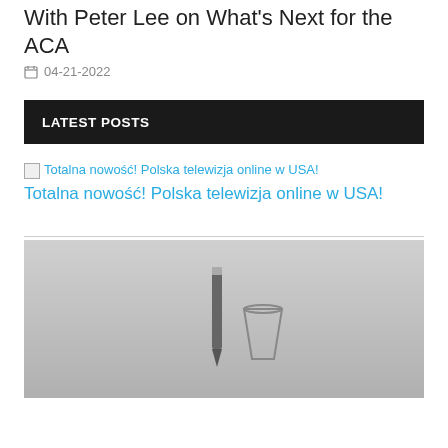With Peter Lee on What's Next for the ACA
04-21-2022
LATEST POSTS
Totalna nowość! Polska telewizja online w USA!
Totalna nowość! Polska telewizja online w USA!
[Figure (photo): Photo of a pen and glass on a grey background, partially obscured by a cookie consent overlay]
We and our partners use cookies on this site to improve our service, perform analytics, personalize advertising, measure advertising performance, and remember website preferences.
OK